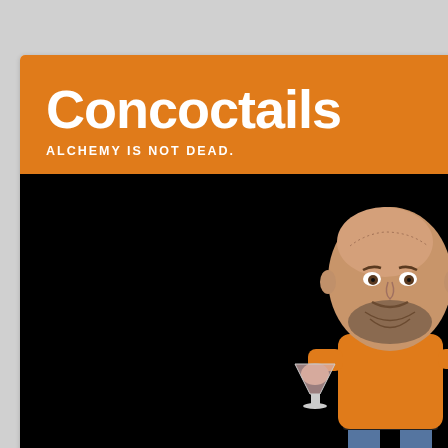Concoctails
ALCHEMY IS NOT DEAD.
[Figure (illustration): Cartoon bobblehead figure of a bald bearded man in an orange shirt and jeans, holding a cocktail glass, standing on a dark background]
Archive fo
Nicki the
APRIL 28, 2015
[Figure (photo): Photo of cocktail glasses on a tan/brown background, partially visible]